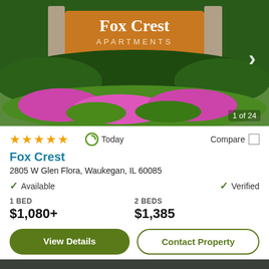[Figure (photo): Exterior photo of Fox Crest Apartments showing a sign with 'Fox Crest APARTMENTS' in orange lettering surrounded by lush green hedges and pink/magenta flowering plants in the foreground. A right-arrow navigation button is visible on the right side.]
1 of 24
★★★★★  Today  Compare
Fox Crest
2805 W Glen Flora, Waukegan, IL 60085
✓ Available   ✓ Verified
1 BED
$1,080+
2 BEDS
$1,385
View Details   Contact Property
By using this website you agree to our use of cookies as described in our cookie policy.